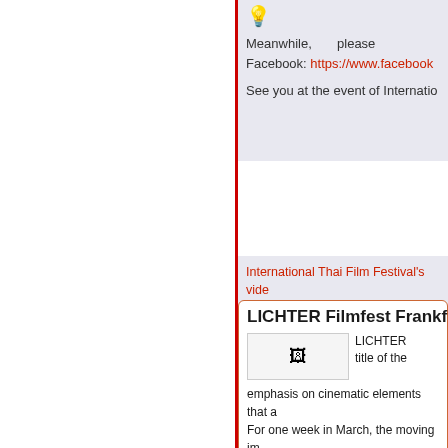💡
Meanwhile, please Facebook: https://www.facebook...
See you at the event of Internatio...
International Thai Film Festival's video...
LICHTER Filmfest Frankfu...
[Figure (photo): Small image placeholder with broken image icon]
LICHTER title of the emphasis on cinematic elements that a For one week in March, the moving im region. This film festival has its roots i grand scale. It features films from arou internationalism of the region and the
LICHTER is a product of the local film directors. It has since evolved from an worked in an improvised theater to a h